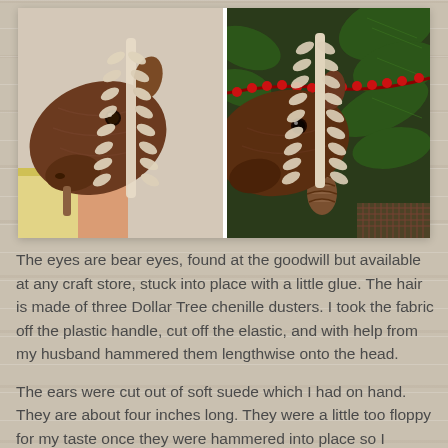[Figure (photo): Two side-by-side photos of wooden rocking horse heads with chenille duster mane/hair. Left photo shows a dark wood horse head with cream/tan chenille mane in a craft room or workshop. Right photo shows a similar wooden horse head decorated for Christmas with pine branches and red berry garland in the background.]
The eyes are bear eyes, found at the goodwill but available at any craft store, stuck into place with a little glue. The hair is made of three Dollar Tree chenille dusters. I took the fabric off the plastic handle, cut off the elastic, and with help from my husband hammered them lengthwise onto the head.
The ears were cut out of soft suede which I had on hand. They are about four inches long. They were a little too floppy for my taste once they were hammered into place so I stitched them together to keep them upright.